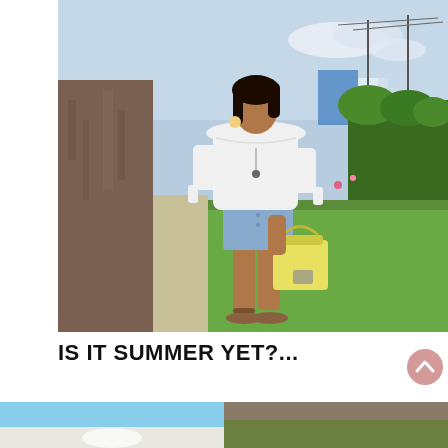[Figure (photo): A young woman wearing a white off-shoulder top with tied sleeves, denim shorts, and sandals, holding a yellow handbag, leaning against a tree trunk outdoors with green grass and shrubs in the background.]
IS IT SUMMER YET?...
[Figure (photo): Bottom strip showing two partially visible photos — left appears to be a bright sky/beach scene, right appears to be a darker outdoor scene.]